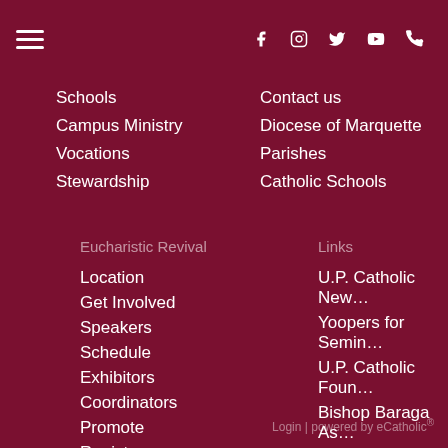≡  f  Instagram  Twitter/X  YouTube  Phone
Schools
Campus Ministry
Vocations
Stewardship
Contact us
Diocese of Marquette
Parishes
Catholic Schools
Eucharistic Revival
Links
Location
Get Involved
Speakers
Schedule
Exhibitors
Coordinators
Promote
Register
Lodging
Contact Us
U.P. Catholic New...
Yoopers for Semin...
U.P. Catholic Foun...
Bishop Baraga As...
Login | powered by eCatholic®